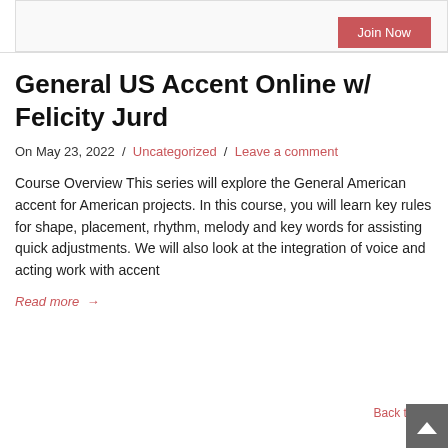[Figure (other): A pink/red button labeled 'Join Now' inside a bordered box at the top of the page]
General US Accent Online w/ Felicity Jurd
On May 23, 2022 / Uncategorized / Leave a comment
Course Overview This series will explore the General American accent for American projects. In this course, you will learn key rules for shape, placement, rhythm, melody and key words for assisting quick adjustments. We will also look at the integration of voice and acting work with accent
Read more →
Back to Top